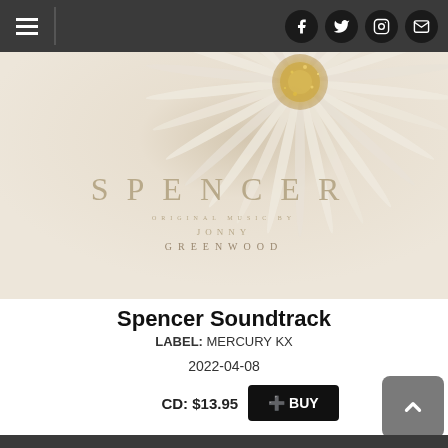Navigation header with hamburger menu and social icons (Facebook, Twitter, Instagram, Email)
[Figure (photo): Album cover art for Spencer Soundtrack by Jonny Greenwood. Close-up of a white/cream daisy flower with golden glittery center on a pale beige background. Text overlay reads 'SPENCER' in large spaced serif letters, with 'ORIGINAL MUSIC BY JONNY GREENWOOD' below in smaller spaced text.]
Spencer Soundtrack
LABEL: MERCURY KX
2022-04-08
CD: $13.95